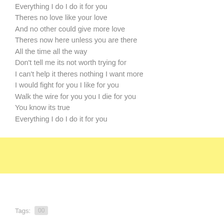Everything I do I do it for you
Theres no love like your love
And no other could give more love
Theres now here unless you are there
All the time all the way
Don't tell me its not worth trying for
I can't help it theres nothing I want more
I would fight for you I like for you
Walk the wire for you you I die for you
You know its true
Everything I do I do it for you
[Figure (other): Yellow highlighted banner area]
Tags:  00